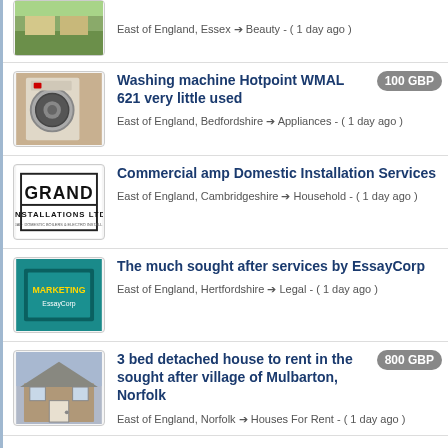East of England, Essex → Beauty - ( 1 day ago )
Washing machine Hotpoint WMAL 621 very little used | 100 GBP | East of England, Bedfordshire → Appliances - ( 1 day ago )
Commercial amp Domestic Installation Services | East of England, Cambridgeshire → Household - ( 1 day ago )
The much sought after services by EssayCorp | East of England, Hertfordshire → Legal - ( 1 day ago )
3 bed detached house to rent in the sought after village of Mulbarton, Norfolk | 800 GBP | East of England, Norfolk → Houses For Rent - ( 1 day ago )